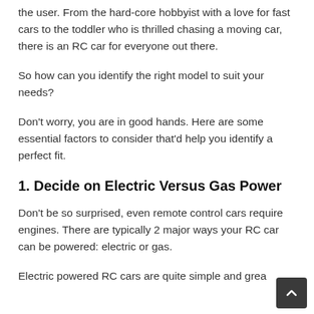the user. From the hard-core hobbyist with a love for fast cars to the toddler who is thrilled chasing a moving car, there is an RC car for everyone out there.
So how can you identify the right model to suit your needs?
Don't worry, you are in good hands. Here are some essential factors to consider that'd help you identify a perfect fit.
1. Decide on Electric Versus Gas Power
Don't be so surprised, even remote control cars require engines. There are typically 2 major ways your RC car can be powered: electric or gas.
Electric powered RC cars are quite simple and grea